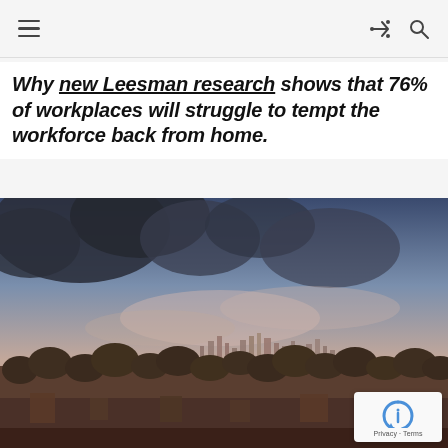[hamburger menu icon] [share icon] [search icon]
Why new Leesman research shows that 76% of workplaces will struggle to tempt the workforce back from home.
[Figure (photo): Aerial cityscape photo showing suburban foreground with trees and low-rise buildings, and a city skyline in the background under a dramatic cloudy sky with pinkish-blue tones.]